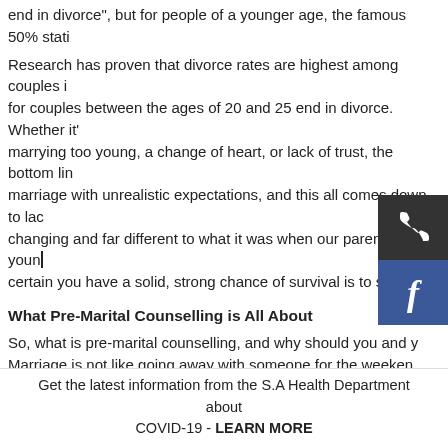end in divorce", but for people of a younger age, the famous 50% stati...
Research has proven that divorce rates are highest among couples in... for couples between the ages of 20 and 25 end in divorce. Whether it's marrying too young, a change of heart, or lack of trust, the bottom line marriage with unrealistic expectations, and this all comes down to lack... changing and far different to what it was when our parents were young... certain you have a solid, strong chance of survival is to seek...
What Pre-Marital Counselling is All About
So, what is pre-marital counselling, and why should you and y... Marriage is not like going away with someone for the weeken... afterwards. Marriage is a serious lifetime commitment, which foundation. Here's how pre-marital counselling can help young couples... marriage..
You'll Get to Know Your Partner Even Better
Unfortunately, most couples spend more time planning their wedding t... not uncommon to get married, only to learn that your partner doesn't w... change of careers, maybe study something new, and then even travel... when we're in love, we don't always think properly, especially about all... have to. Pre-marital counselling is likely to bring up certain topics that... thus allowing you to connect on a deeper level.
You'll Learn That Communication is the Secret to a Good Marria...
Get the latest information from the S.A Health Department about COVID-19 - LEARN MORE